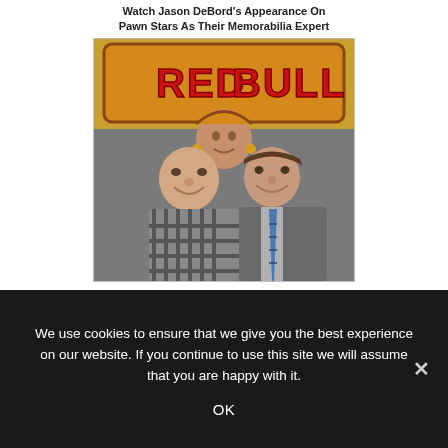Watch Jason DeBord's Appearance On Pawn Stars As Their Memorabilia Expert
[Figure (photo): Two men standing in front of a Red Bull sign with a Native American figure painted on it. The man on the left is bald, wearing a plaid shirt. The man on the right is wearing a grey suit jacket with a blue plaid tie.]
We use cookies to ensure that we give you the best experience on our website. If you continue to use this site we will assume that you are happy with it.
OK